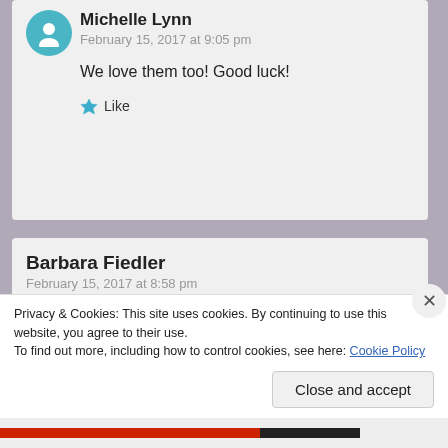Michelle Lynn
February 15, 2017 at 9:05 pm
We love them too! Good luck!
★ Like
Barbara Fiedler
February 15, 2017 at 8:58 pm
Done, three times, and copying and pasting on Instagram! Looks like some great reading!
Privacy & Cookies: This site uses cookies. By continuing to use this website, you agree to their use.
To find out more, including how to control cookies, see here: Cookie Policy
Close and accept